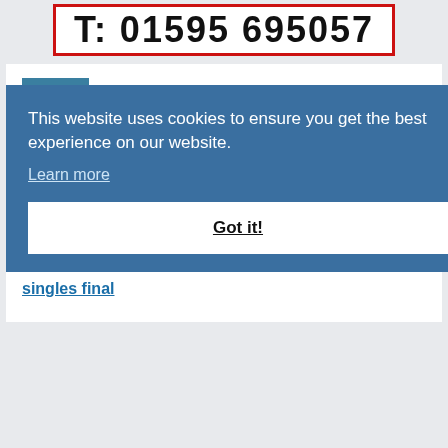T: 01595 695057
SPORT
Medals aplenty: swimmers strike gold in Bermuda, and Joan grabs silver in squash
A glorious night in Bermuda saw Shetland swimmers Felix Gifford and Andrea Strachan both grab gold medals on Monday, while isles squash star Joan Smith
This website uses cookies to ensure you get the best experience on our website.
Learn more
Got it!
singles final